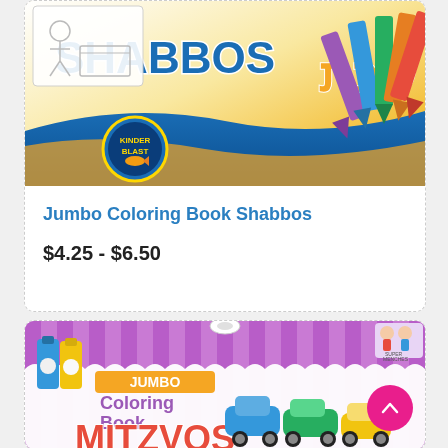[Figure (photo): Cover of Jumbo Coloring Book Shabbos — shows cartoon children at Shabbos table, Hebrew letters, crayons, and Kinder Blast logo on an orange/blue background]
Jumbo Coloring Book Shabbos
$4.25 - $6.50
[Figure (photo): Cover of Jumbo Coloring Book Mitzvos — shows cartoon crayon characters, colorful cars/trains on a purple striped background with scalloped white border]